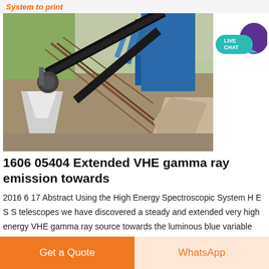System to print
[Figure (photo): Aerial/side view of an industrial mining or quarrying facility with conveyor belts, a cone crusher, blue dust collection unit, and metal support structures]
[Figure (infographic): Live Chat button with teal speech bubble and purple circle icon in the top right corner]
1606 05404 Extended VHE gamma ray emission towards
2016 6 17 Abstract Using the High Energy Spectroscopic System H E S S telescopes we have discovered a steady and extended very high energy VHE gamma ray source towards the luminous blue variable candidate LBV1806 20
Get a Quote | WhatsApp